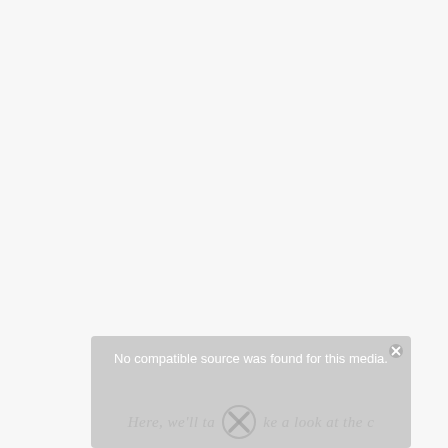[Figure (screenshot): A media player error overlay box with a close button (X circle) in the top-right corner. The overlay displays the message 'No compatible source was found for this media.' in white text on a light gray background. Below the message, there is partially visible italic watermark text reading 'Here, we'll take a look at the c...' and a large X symbol overlaid on what appears to be a circular icon.]